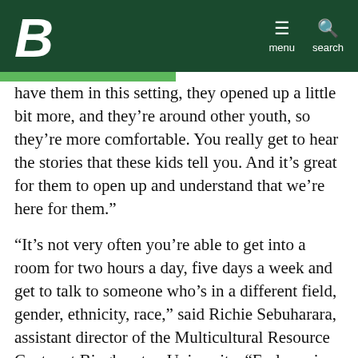[Figure (logo): Binghamton University logo — stylized white italic B on dark green background header with menu and search icons]
have them in this setting, they opened up a little bit more, and they’re around other youth, so they’re more comfortable. You really get to hear the stories that these kids tell you. And it’s great for them to open up and understand that we’re here for them.”
“It’s not very often you’re able to get into a room for two hours a day, five days a week and get to talk to someone who’s in a different field, gender, ethnicity, race,” said Richie Sebuharara, assistant director of the Multicultural Resource Center at Binghamton University. “Early on in the program the officers weren’t wearing their uniforms, and some of the students didn’t even know that they were cops. When they found out that they were, they said, ‘Wait a minute